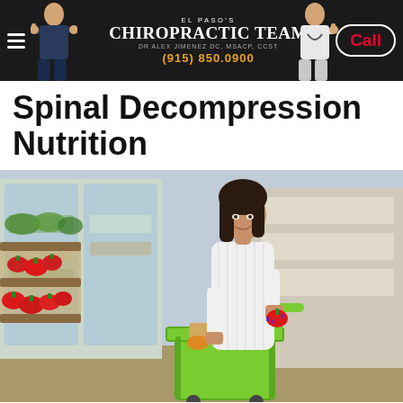El Paso's Chiropractic Team — Dr Alex Jimenez DC, MSACP, CCST — (915) 850.0900 — Call
Spinal Decompression Nutrition
[Figure (photo): Woman in white shirt shopping for groceries in a supermarket, holding a red bell pepper, leaning over a green shopping cart filled with vegetables and bread, with produce shelves and refrigerated sections in the background.]